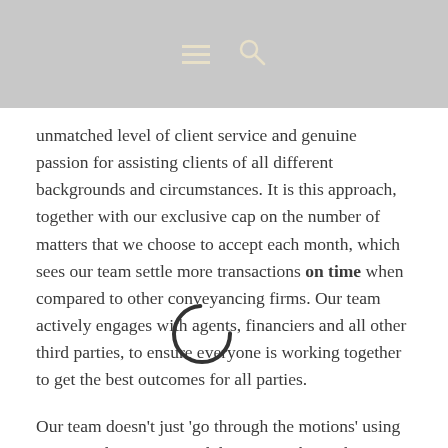[Navigation bar with hamburger menu and search icon]
unmatched level of client service and genuine passion for assisting clients of all different backgrounds and circumstances. It is this approach, together with our exclusive cap on the number of matters that we choose to accept each month, which sees our team settle more transactions on time when compared to other conveyancing firms. Our team actively engages with agents, financiers and all other third parties, to ensure everyone is working together to get the best outcomes for all parties.
Our team doesn't just 'go through the motions' using automated processes and documents, but rather, our conveyancers take an interest in what the transaction means to you and uses their experience and commercial approach to achieve the best outcome for you, as efficiently and smoothly as possible.